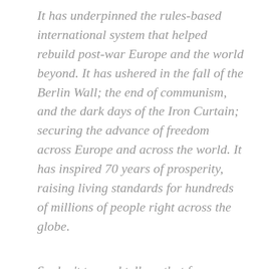It has underpinned the rules-based international system that helped rebuild post-war Europe and the world beyond. It has ushered in the fall of the Berlin Wall; the end of communism, and the dark days of the Iron Curtain; securing the advance of freedom across Europe and across the world. It has inspired 70 years of prosperity, raising living standards for hundreds of millions of people right across the globe.
So don't try and tell me that free markets are no longer fit for purpose. That somehow they're holding people back. Don't try and